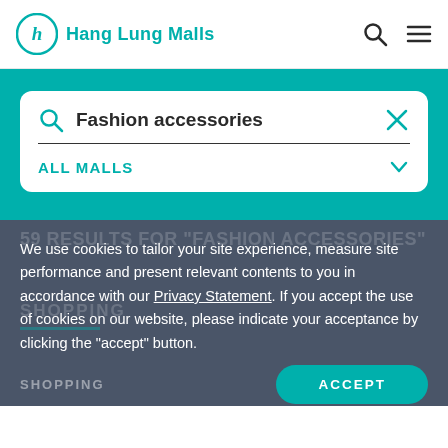Hang Lung Malls
Fashion accessories
ALL MALLS
We use cookies to tailor your site experience, measure site performance and present relevant contents to you in accordance with our Privacy Statement. If you accept the use of cookies on our website, please indicate your acceptance by clicking the "accept" button.
SHOPPING
ACCEPT